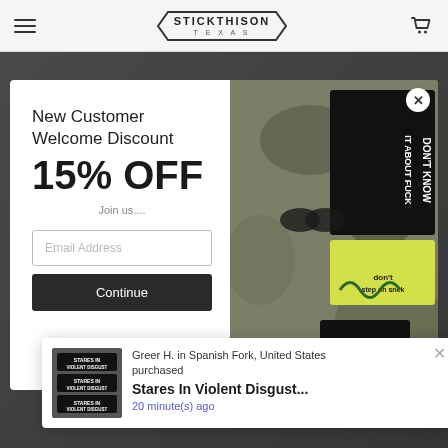STICKTHISON TEXAS — Navigation header with hamburger menu and cart icon
[Figure (screenshot): E-commerce popup modal with welcome discount offer: 'New Customer Welcome Discount 15% OFF', email input field, and Continue button. Right side shows product image with tactical patches including 'Don't Know Shit About Fuck' and 'Don't Tread on Me' patches on camouflage background.]
New Customer Welcome Discount
15% OFF
Join us....
Email Address
Continue
Greer H. in Spanish Fork, United States purchased
Stares In Violent Disgust...
20 minute(s) ago